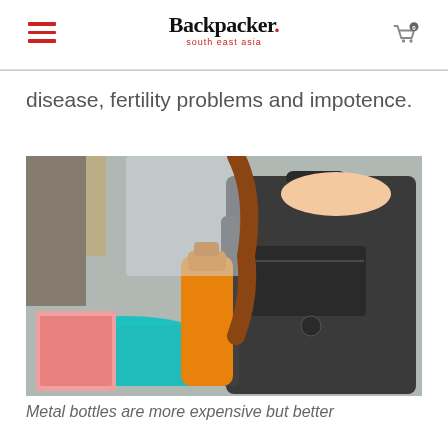Backpacker. south east asia
disease, fertility problems and impotence.
[Figure (photo): Person placing an orange water bottle into a dark grey backpack, with a teal table and pink folder visible in the background.]
Metal bottles are more expensive but better